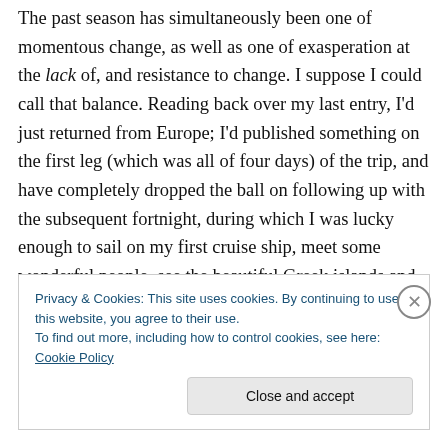The past season has simultaneously been one of momentous change, as well as one of exasperation at the lack of, and resistance to change. I suppose I could call that balance. Reading back over my last entry, I'd just returned from Europe; I'd published something on the first leg (which was all of four days) of the trip, and have completely dropped the ball on following up with the subsequent fortnight, during which I was lucky enough to sail on my first cruise ship, meet some wonderful people, see the beautiful Greek islands and learn of their history and unique personalities, and travel around the Emerald
Privacy & Cookies: This site uses cookies. By continuing to use this website, you agree to their use.
To find out more, including how to control cookies, see here: Cookie Policy